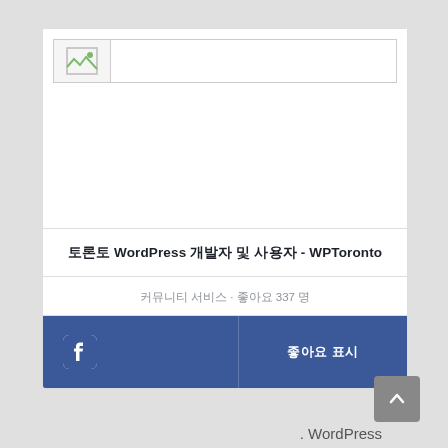[Figure (screenshot): Facebook page card with broken image placeholder at top, showing a wide header image area with a broken image icon on the left.]
토론토 WordPress 개발자 및 사용자 - WPToronto
커뮤니티 서비스 · 좋아요 337 명
[Figure (screenshot): Facebook blue action bar with facebook icon on the left and like button text on the right (좋아요 표시)]
[Figure (screenshot): Scroll to top grey button with upward arrow in bottom right area]
. WordPress